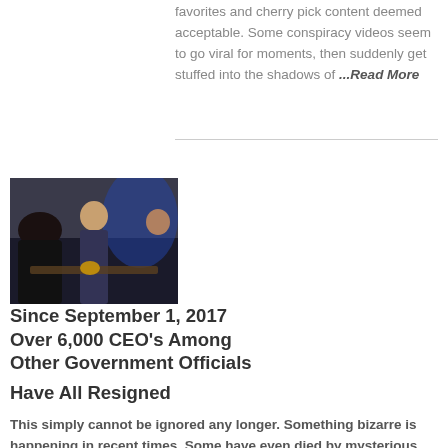favorites and cherry pick content deemed acceptable. Some conspiracy videos seem to go viral for moments, then suddenly get stuffed into the shadows of ...Read More
[Figure (photo): A group of people at what appears to be a business or social event, dark indoor setting with blue lighting in the background.]
Since September 1, 2017 Over 6,000 CEO's Among Other Government Officials Have All Resigned
This simply cannot be ignored any longer. Something bizarre is happening in recent times. Some have even died by mysterious consequences it seems in certain situations. What is it they are